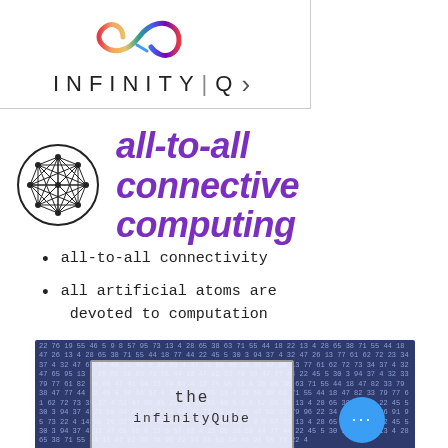[Figure (logo): InfinityQ logo with rainbow infinity symbol above stylized text INFINITY|Q with chevron]
all-to-all connective computing
all-to-all connectivity
all artificial atoms are devoted to computation
[Figure (photo): Background of blue number matrix with white card overlay reading 'the infinityQube']